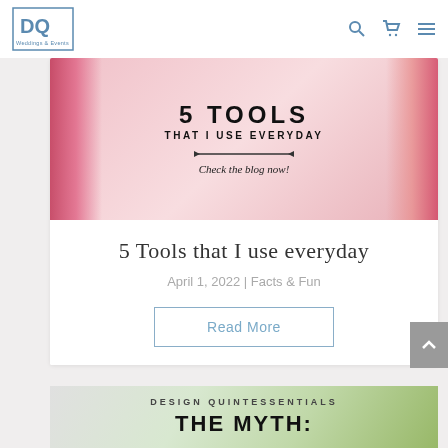[Figure (logo): DQ Weddings & Events logo — blue square letters DQ with tagline]
[Figure (photo): Blog post header image: '5 TOOLS THAT I USE EVERYDAY' with floral background, arrow line, and text 'Check the blog now!']
5 Tools that I use everyday
April 1, 2022 | Facts & Fun
Read More
[Figure (photo): Second blog post header image with 'DESIGN QUINTESSENTIALS' and 'THE MYTH:' text on floral background]